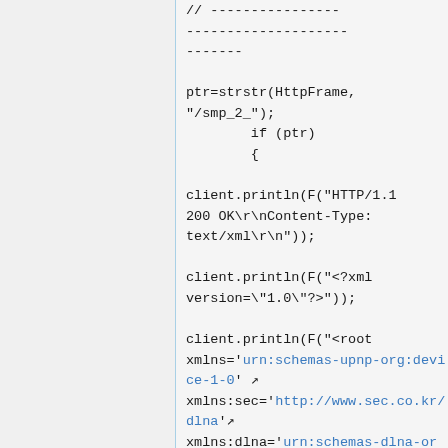// ---------------------------------------------------------------

ptr=strstr(HttpFrame, "/smp_2_");
        if (ptr)
        {

client.println(F("HTTP/1.1 200 OK\r\nContent-Type: text/xml\r\n"));

client.println(F("<?xml version=\"1.0\"?>"));

client.println(F("<root xmlns='urn:schemas-upnp-org:device-1-0' xmlns:sec='http://www.sec.co.kr/dlna' xmlns:dlna='urn:schemas-dlna-org:device-1-0'>"));

client.println(F("